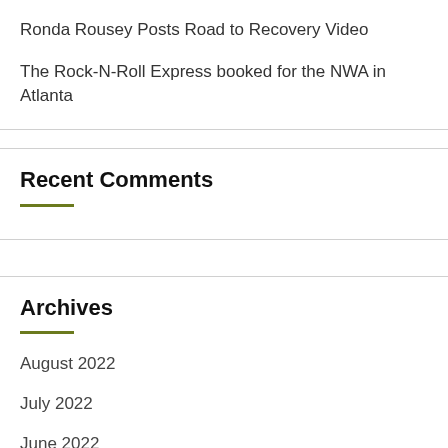Ronda Rousey Posts Road to Recovery Video
The Rock-N-Roll Express booked for the NWA in Atlanta
Recent Comments
Archives
August 2022
July 2022
June 2022